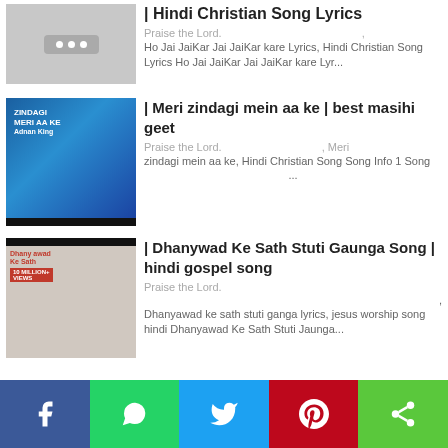[Figure (screenshot): Thumbnail placeholder with gray background and three dots icon]
| Hindi Christian Song Lyrics
Praise the Lord. , Ho Jai JaiKar Jai JaiKar kare Lyrics, Hindi Christian Song Lyrics Ho Jai JaiKar Jai JaiKar kare Lyr...
[Figure (screenshot): Thumbnail for Meri zindagi mein aa ke song with blue/movie poster background]
| Meri zindagi mein aa ke | best masihi geet
Praise the Lord. , Meri zindagi mein aa ke, Hindi Christian Song Song Info 1 Song ...
[Figure (screenshot): Thumbnail for Dhanywad Ke Sath Stuti Gaunga Song showing two people on stage]
| Dhanywad Ke Sath Stuti Gaunga Song | hindi gospel song
Praise the Lord. , Dhanyawad ke sath stuti ganga lyrics, jesus worship song hindi Dhanyawad Ke Sath Stuti Jaunga...
[Figure (infographic): Social share bar with Facebook, WhatsApp, Twitter, Pinterest, and share buttons]